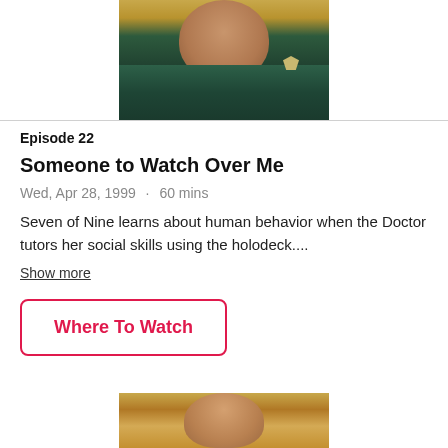[Figure (photo): Screenshot from a Star Trek Voyager episode showing a crew member in teal/green Starfleet uniform with gold background elements]
Episode 22
Someone to Watch Over Me
Wed, Apr 28, 1999 · 60 mins
Seven of Nine learns about human behavior when the Doctor tutors her social skills using the holodeck....
Show more
Where To Watch
[Figure (photo): Partial screenshot showing another Star Trek character with gold/warm background]